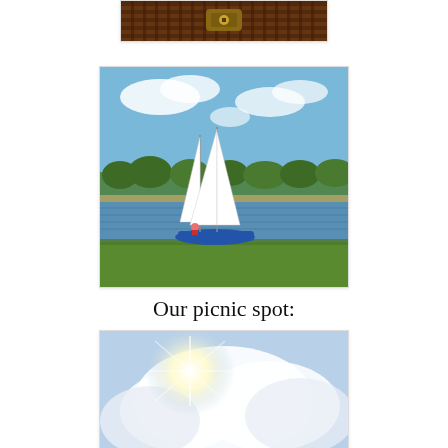[Figure (photo): Partial view of a wicker/woven basket with leather strap, cropped at top of frame]
[Figure (photo): Sailboat with two white sails on a calm lake or bay, with green treeline in background and blue sky with light clouds]
Our picnic spot:
[Figure (photo): Looking up at bright cloudy sky with sun flare, taken from picnic spot]